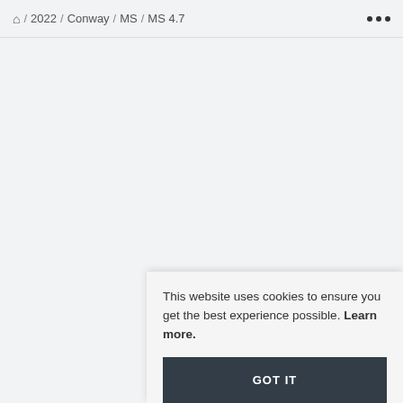🏠 / 2022 / Conway / MS / MS 4.7  •••
This website uses cookies to ensure you get the best experience possible. Learn more.
GOT IT